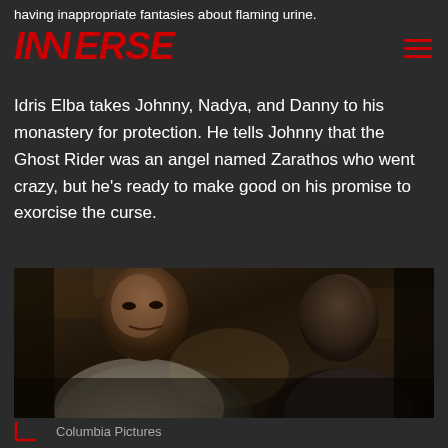having inappropriate fantasies about flaming urine.
INVERSE
Idris Elba takes Johnny, Nadya, and Danny to his monastery for protection. He tells Johnny that the Ghost Rider was an angel named Zarathos who went crazy, but he's ready to make good on his promise to exorcise the curse.
[Figure (photo): Movie still showing two men in a dimly lit stone interior — a Black man in a light jacket appears to be speaking earnestly to another man facing him, from the film Ghost Rider: Spirit of Vengeance (Columbia Pictures).]
Columbia Pictures